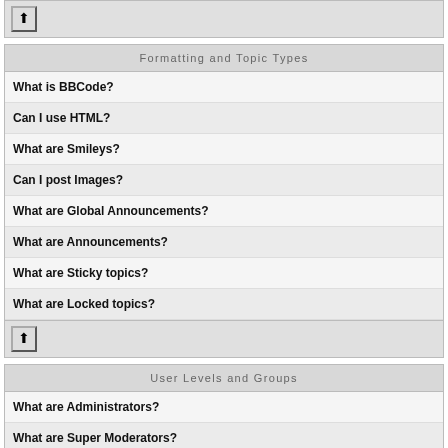[Figure (other): Up arrow button in a gray bar at the top]
Formatting and Topic Types
What is BBCode?
Can I use HTML?
What are Smileys?
Can I post Images?
What are Global Announcements?
What are Announcements?
What are Sticky topics?
What are Locked topics?
[Figure (other): Up arrow button in a gray bar]
User Levels and Groups
What are Administrators?
What are Super Moderators?
What are Moderators?
What are Usergroups?